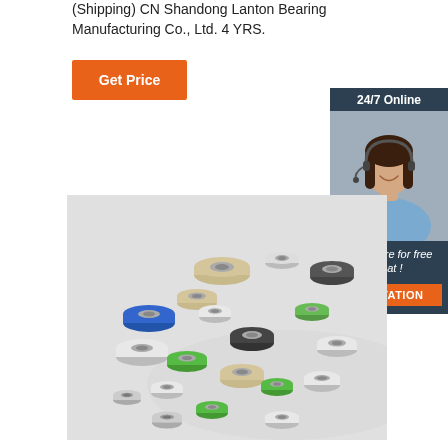(Shipping) CN Shandong Lanton Bearing Manufacturing Co., Ltd. 4 YRS.
Get Price
[Figure (photo): Chat panel with '24/7 Online' header, photo of customer service representative with headset, 'Click here for free chat!' text, and orange QUOTATION button, on dark blue/slate background]
[Figure (photo): Product photo showing a collection of various plastic-rimmed roller bearings in white, green, blue, black, and beige colors scattered on a light gray surface]